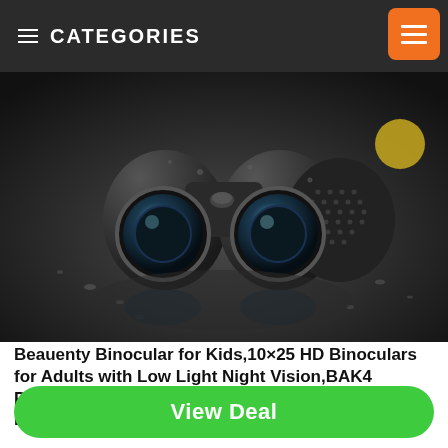CATEGORIES
[Figure (photo): Black binoculars with water droplets on a reflective dark surface, showing two large objective lenses facing forward. The binoculars have a textured grip surface and rugged design.]
Beauenty Binocular for Kids,10×25 HD Binoculars for Adults with Low Light Night Vision,BAK4 Prism,FMC Lens Fognroof Waterproof, Folding Binoculars for
Nikon Action EX 16x50CF Fernglas
View Deal